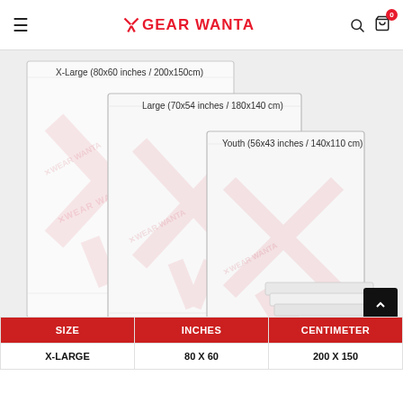GEAR WANTA
[Figure (photo): Three white blankets of different sizes displayed side by side with labels: X-Large (80x60 inches / 200x150cm), Large (70x54 inches / 180x140 cm), Youth (56x43 inches / 140x110 cm). Gear Wanta watermark visible. Small folded blankets shown at bottom right.]
| SIZE | INCHES | CENTIMETER |
| --- | --- | --- |
| X-LARGE | 80 X 60 | 200 X 150 |